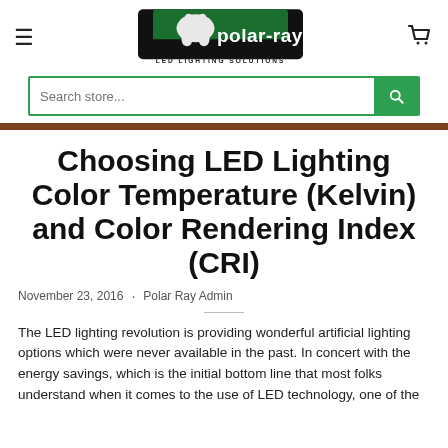[Figure (logo): polar-ray LED Lighting Solutions logo with polar bear graphic on black/green background]
Search store...
Choosing LED Lighting Color Temperature (Kelvin) and Color Rendering Index (CRI)
November 23, 2016  ·  Polar Ray Admin
The LED lighting revolution is providing wonderful artificial lighting options which were never available in the past. In concert with the energy savings, which is the initial bottom line that most folks understand when it comes to the use of LED technology, one of the